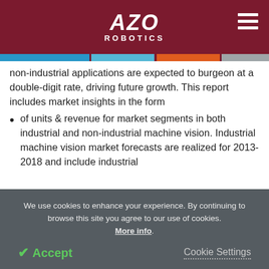AZO ROBOTICS
non-industrial applications are expected to burgeon at a double-digit rate, driving future growth. This report includes market insights in the form
of units & revenue for market segments in both industrial and non-industrial machine vision. Industrial machine vision market forecasts are realized for 2013-2018 and include industrial
We use cookies to enhance your experience. By continuing to browse this site you agree to our use of cookies. More info.
Accept   Cookie Settings